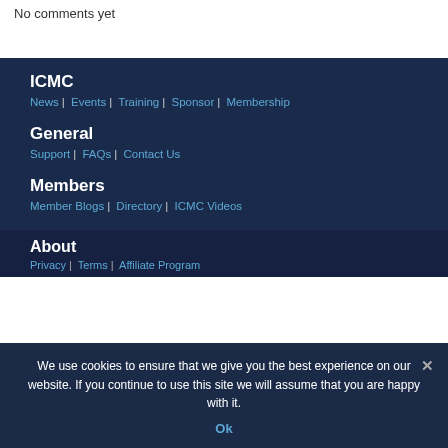No comments yet
ICMC
News | Events | Training | Sponsor | Membership
General
Support | FAQs | Contact Us
Members
Member Blogs | Directory | ICMC Videos
About
Privacy | Terms | Affiliate Program
We use cookies to ensure that we give you the best experience on our website. If you continue to use this site we will assume that you are happy with it.
Ok